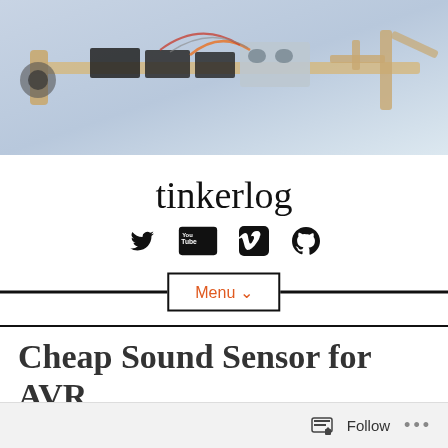[Figure (photo): Photo of a robotic arm or mechanical robot with servo motors, metal frame, and ultrasonic sensors on a light blue background]
tinkerlog
[Figure (infographic): Social media icons: Twitter bird, YouTube, Vimeo V, GitHub Octocat]
Menu ˅
Cheap Sound Sensor for AVR
Follow ...